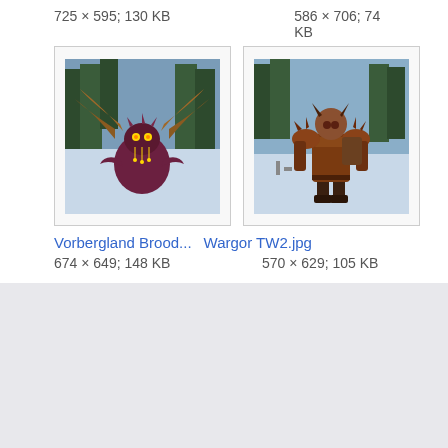725 × 595; 130 KB
586 × 706; 74 KB
[Figure (photo): Fantasy game creature with wings and glowing eyes, standing in a snowy forest scene. Vorbergland Brood image.]
[Figure (photo): Fantasy game armored character standing in a snowy forest scene. Wargor TW2.jpg image.]
Vorbergland Brood...
Wargor TW2.jpg
674 × 649; 148 KB
570 × 629; 105 KB